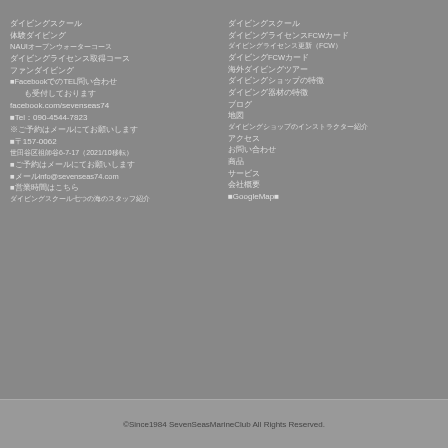ダイビングスクール
体験ダイビング
NAUIオープンウォーターコース
ダイビングライセンス取得コース
ファンダイビング
■FacebookでのTEL問い合わせ
も受付しております
facebook.com/sevenseas74
■Tel：090-4544-7823
※ご予約はメールにてお願いします
■〒157-0062
世田谷区祖師谷6-7-17（2021/10移転）
■ご予約はメールにてお願いします
■メールinfo@sevenseas74.com
■営業時間はこちら
ダイビングスクール七つの海のスタッフ紹介
ダイビングライセンスFCWカード
ダイビングライセンス更新（FCW）
ダイビングFCWカード
海外ダイビングツアー
ダイビングショップの特徴
ダイビング器材の特徴
ブログ
地図
ダイビングショップのインストラクター紹介
アクセス
お問い合わせ
商品
サービス
会社概要
■GoogleMap■
©Since1984 SevenSeasMarineClub All Rights Reserved.